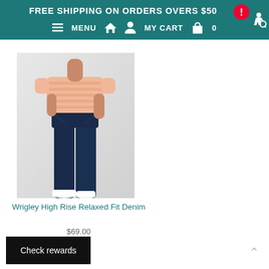FREE SHIPPING ON ORDERS OVERS $50
≡ MENU  🏠  👤  MY CART  🛍  0
[Figure (photo): A woman wearing a striped peach top and dark navy high rise skinny jeans with white sneakers, posing against a light grey background.]
Wrigley High Rise Relaxed Fit Denim
$69.00
Check rewards